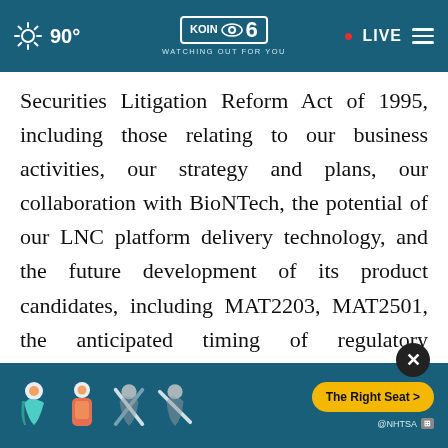KOIN 6 CBS · WATCHING OUT FOR YOU · 90° · LIVE
Securities Litigation Reform Act of 1995, including those relating to our business activities, our strategy and plans, our collaboration with BioNTech, the potential of our LNC platform delivery technology, and the future development of its product candidates, including MAT2203, MAT2501, the anticipated timing of regulatory submissions, the anticipated timing of clinical studies, the anticipated timing of regulatory submissions, the Company's ability to identify and pursue
[Figure (other): NHTSA car seat safety advertisement banner with child seat icons and 'The Right Seat >' call-to-action button, displayed as overlay ad with close button]